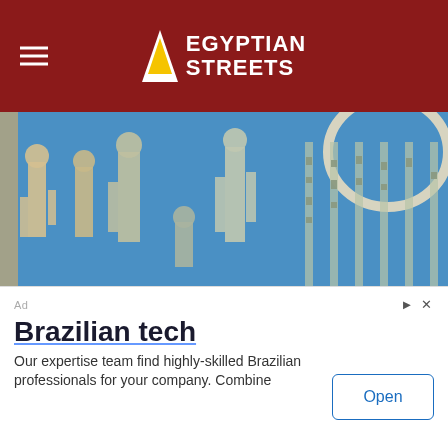Egyptian Streets
[Figure (photo): Hieroglyphic carvings and paintings on the interior walls of an ancient Egyptian temple in Dendera, showing blue-painted relief sculptures of Egyptian deities and figures with hieroglyphic inscriptions.]
Hieroglyphic carvings and paintings on the interior walls of an ancient Egyptian temple in Dendera | c. Shutterstock
Egyptian blue was the ancient world’s first introduction to synthetic paint development, and remained essential throughout the centuries. The hue held in incredibly high regard; it was used for
[Figure (other): Advertisement banner: Brazilian tech - Our expertise team find highly-skilled Brazilian professionals for your company. Combine - with an Open button.]